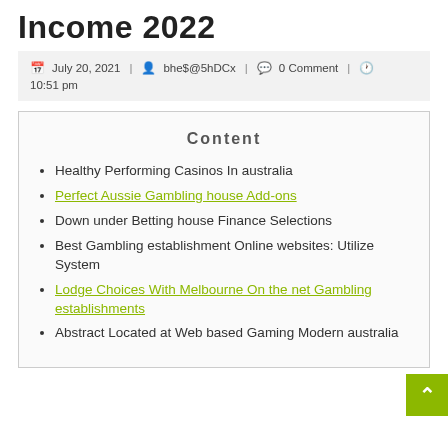Income 2022
📅 July 20, 2021 | 👤 bhe$@5hDCx | 💬 0 Comment | 🕐 10:51 pm
Content
Healthy Performing Casinos In australia
Perfect Aussie Gambling house Add-ons
Down under Betting house Finance Selections
Best Gambling establishment Online websites: Utilize System
Lodge Choices With Melbourne On the net Gambling establishments
Abstract Located at Web based Gaming Modern australia